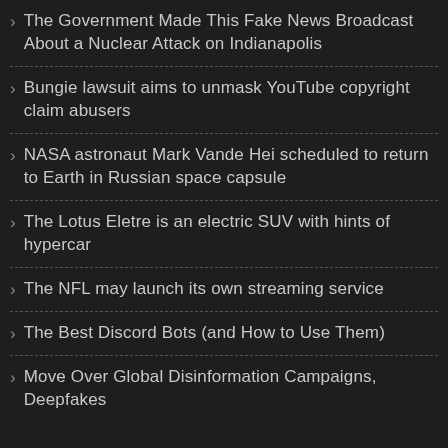The Government Made This Fake News Broadcast About a Nuclear Attack on Indianapolis
Bungie lawsuit aims to unmask YouTube copyright claim abusers
NASA astronaut Mark Vande Hei scheduled to return to Earth in Russian space capsule
The Lotus Eletre is an electric SUV with hints of hypercar
The NFL may launch its own streaming service
The Best Discord Bots (and How to Use Them)
Move Over Global Disinformation Campaigns, Deepfakes